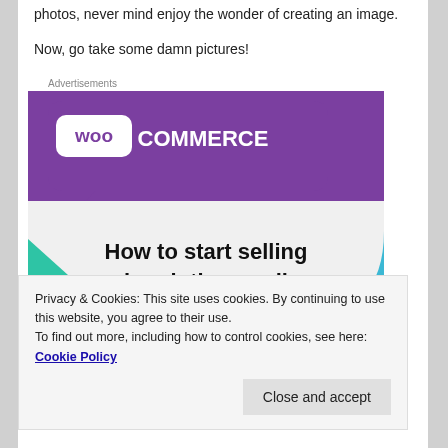photos, never mind enjoy the wonder of creating an image.
Now, go take some damn pictures!
Advertisements
[Figure (illustration): WooCommerce advertisement banner showing purple speech bubble logo with text 'woo COMMERCE' and the headline 'How to start selling subscriptions online' on a light grey background with teal and blue decorative shapes.]
Privacy & Cookies: This site uses cookies. By continuing to use this website, you agree to their use.
To find out more, including how to control cookies, see here: Cookie Policy
Close and accept